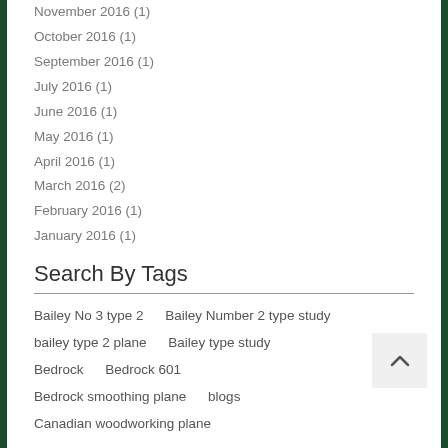November 2016 (1)
October 2016 (1)
September 2016 (1)
July 2016 (1)
June 2016 (1)
May 2016 (1)
April 2016 (1)
March 2016 (2)
February 2016 (1)
January 2016 (1)
Search By Tags
Bailey No 3 type 2   Bailey Number 2 type study   bailey type 2 plane   Bailey type study   Bedrock   Bedrock 601   Bedrock smoothing plane   blogs   Canadian woodworking plane